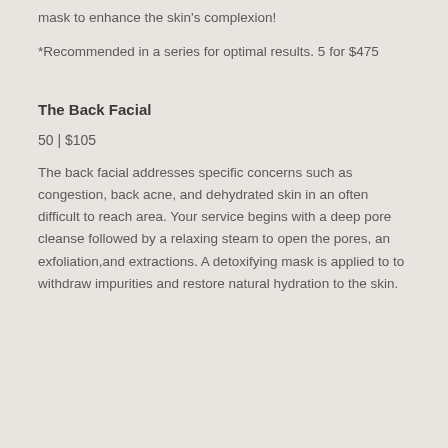mask to enhance the skin's complexion!
*Recommended in a series for optimal results. 5 for $475
The Back Facial
50 | $105
The back facial addresses specific concerns such as congestion, back acne, and dehydrated skin in an often difficult to reach area. Your service begins with a deep pore cleanse followed by a relaxing steam to open the pores, an exfoliation,and extractions. A detoxifying mask is applied to to withdraw impurities and restore natural hydration to the skin.